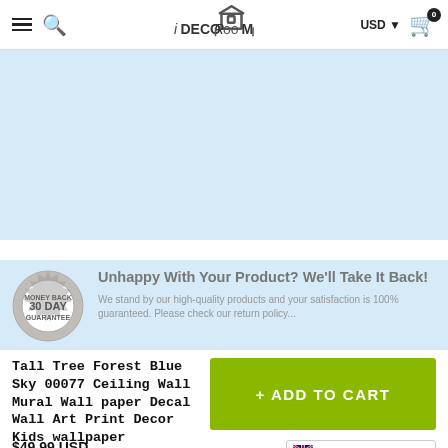iDecoRoom — USD — Cart (0)
[Figure (illustration): Light blue banner/hero area for product display]
Unhappy With Your Product? We'll Take It Back!
We stand by our high-quality products and your satisfaction is 100% guaranteed. Please check our return policy...
Tall Tree Forest Blue Sky 00077 Ceiling Wall Mural Wall paper Decal Wall Art Print Decor Kids wallpaper
$49.99 USD